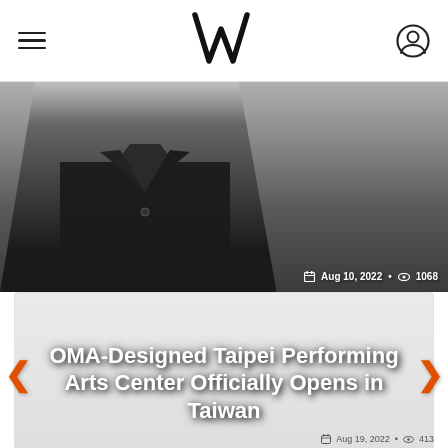W (logo) — navigation bar with hamburger menu and user icon
[Figure (photo): Person wearing dark black collared shirt, upper body visible, cropped at mid-torso. Date: Aug 10, 2022 · 1068 views shown in bottom-right overlay.]
OMA-Designed Taipei Performing Arts Center Officially Opens in Taiwan
Aug 19, 2022 · 413 (partially visible at bottom)